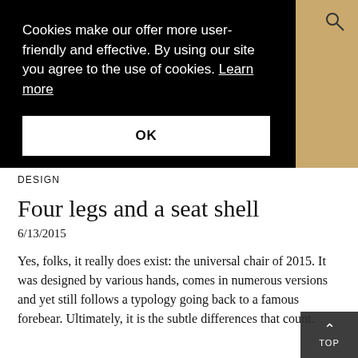Cookies make our offer more user-friendly and effective. By using our site you agree to the use of cookies. Learn more
OK
DESIGN
Four legs and a seat shell
6/13/2015
Yes, folks, it really does exist: the universal chair of 2015. It was designed by various hands, comes in numerous versions and yet still follows a typology going back to a famous forebear. Ultimately, it is the subtle differences that count.